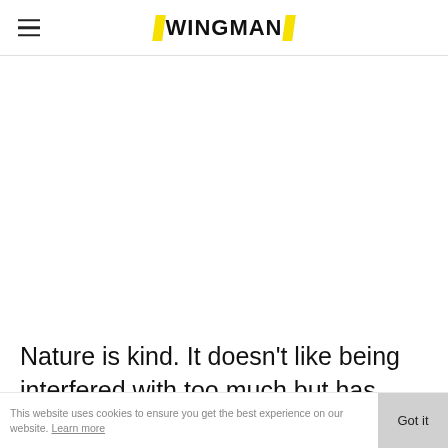WINGMAN
Nature is kind. It doesn’t like being interfered with too much but has inbuilt systems that will automatically get you right, if you are sensible
This website uses cookies to ensure you get the best experience on our website. Learn more  Got it